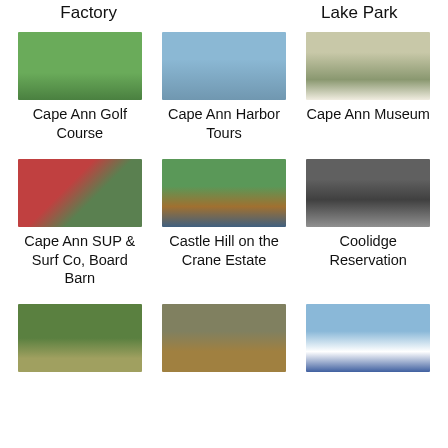Factory
Lake Park
[Figure (photo): Cape Ann Golf Course - green golf field]
Cape Ann Golf Course
[Figure (photo): Cape Ann Harbor Tours - boats at harbor]
Cape Ann Harbor Tours
[Figure (photo): Cape Ann Museum - historic building exterior]
Cape Ann Museum
[Figure (photo): Cape Ann SUP & Surf Co, Board Barn - red barn building]
Cape Ann SUP & Surf Co, Board Barn
[Figure (photo): Castle Hill on the Crane Estate - estate grounds]
Castle Hill on the Crane Estate
[Figure (photo): Coolidge Reservation - rocky shoreline]
Coolidge Reservation
[Figure (photo): Bottom left photo - building with greenery]
[Figure (photo): Bottom center photo - statue]
[Figure (photo): Bottom right photo - lighthouse]